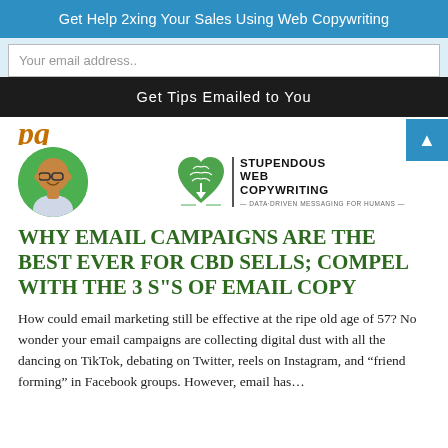Get Help 2xing Your Sales Using Web Copywriting
Your email address..
Get Tips Emailed to You
[Figure (photo): Partial italic heading text cut off at top, colored orange/brown]
[Figure (photo): Round avatar photo of a man with glasses on green circle background, and Stupendous Web Copywriting logo with heart/brain icon and tagline DATA-DRIVEN MESSAGING FOR HUMANS]
WHY EMAIL CAMPAIGNS ARE THE BEST EVER FOR CBD SELLS; COMPEL WITH THE 3 S"S OF EMAIL COPY
How could email marketing still be effective at the ripe old age of 57? No wonder your email campaigns are collecting digital dust with all the dancing on TikTok, debating on Twitter, reels on Instagram, and “friend forming” in Facebook groups. However, email has…